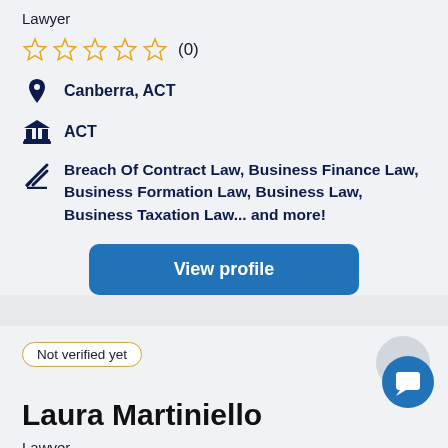Lawyer
☆ ☆ ☆ ☆ ☆  (0)
Canberra, ACT
ACT
Breach Of Contract Law, Business Finance Law, Business Formation Law, Business Law, Business Taxation Law... and more!
View profile
Not verified yet
Laura Martiniello
Lawyer